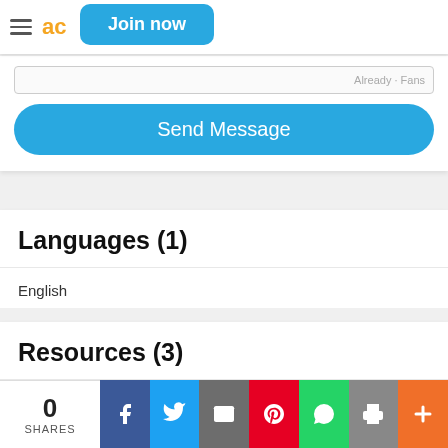Join now
Send Message
Languages (1)
English
Resources (3)
0 SHARES